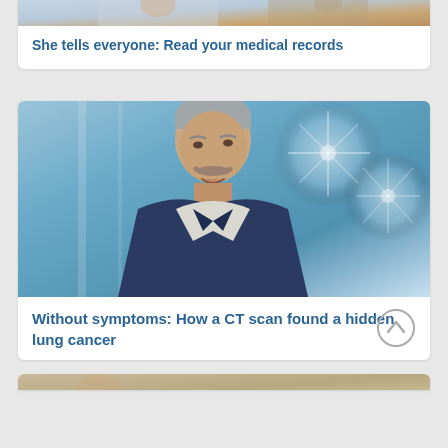[Figure (photo): Partial top card showing a photo of people in a medical/professional setting, cropped at top]
She tells everyone: Read your medical records
[Figure (photo): Middle-aged man with gray hair and mustache looking upward, smiling, against a blue decorative background with snowflake/floral patterns]
Without symptoms: How a CT scan found a hidden lung cancer
[Figure (photo): Partial bottom card with a photo partially visible at bottom of page]